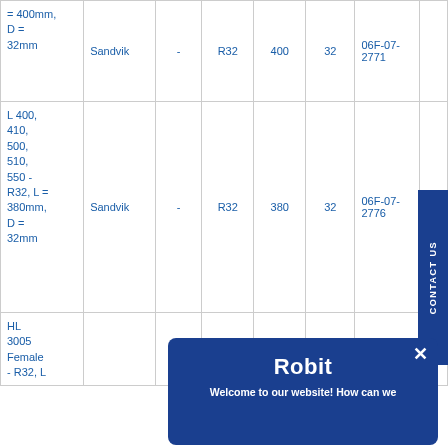|  | Brand | Steel grade | Thread | L (mm) | D (mm) | Art. no. |  |
| --- | --- | --- | --- | --- | --- | --- | --- |
| = 400mm, D = 32mm | Sandvik | - | R32 | 400 | 32 | 06F-07-2771 |  |
| L 400, 410, 500, 510, 550 - R32, L = 380mm, D = 32mm | Sandvik | - | R32 | 380 | 32 | 06F-07-2776 |  |
| HL 3005 Female - R32, L |  |  |  |  |  |  |  |
[Figure (screenshot): Robit chat popup with title 'Robit' and subtitle 'Welcome to our website! How can we' with a close button]
We use cookies to collect information about how you use our website and to improve our customer experience. Read our Privacy Policy to learn more.
ACCEPT
DECLINE
PRIVACY POLICY